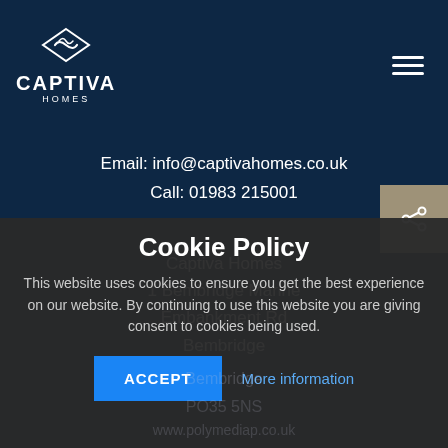[Figure (logo): Captiva Homes logo with wave/diamond icon above the text CAPTIVA HOMES on dark navy background]
Email: info@captivahomes.co.uk
Call: 01983 215001
Captiva Homes
1 Bembridge Marine
Embankment Rd
Bembridge
Cookie Policy
This website uses cookies to ensure you get the best experience on our website. By continuing to use this website you are giving consent to cookies being used.
ACCEPT    More information